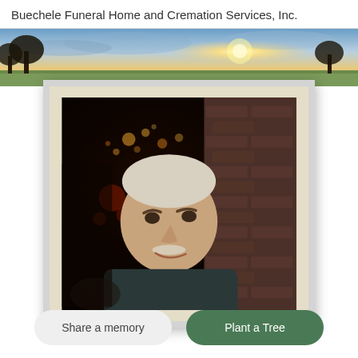Buechele Funeral Home and Cremation Services, Inc.
[Figure (photo): A landscape banner image showing trees silhouetted against a dramatic sunset sky with golden and blue tones.]
[Figure (photo): A portrait photo of an elderly man with white/gray hair and a white mustache, smiling slightly, photographed indoors with a dark brick wall background and lights visible behind him. The photo is displayed in a framed mat with a cream/beige border and gray outer frame.]
Share a memory
Plant a Tree